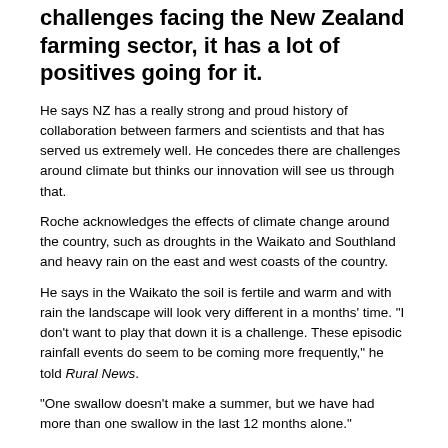challenges facing the New Zealand farming sector, it has a lot of positives going for it.
He says NZ has a really strong and proud history of collaboration between farmers and scientists and that has served us extremely well. He concedes there are challenges around climate but thinks our innovation will see us through that.
Roche acknowledges the effects of climate change around the country, such as droughts in the Waikato and Southland and heavy rain on the east and west coasts of the country.
He says in the Waikato the soil is fertile and warm and with rain the landscape will look very different in a months' time. "I don't want to play that down it is a challenge. These episodic rainfall events do seem to be coming more frequently," he told Rural News.
"One swallow doesn't make a summer, but we have had more than one swallow in the last 12 months alone."
Roche says the country's farmers and orchardists will have to adapt. He explains this will involves looking at their system - specifically at those points at which the climate puts pressure on the operation - and then seeing how that can be managed. For some, that might mean de-